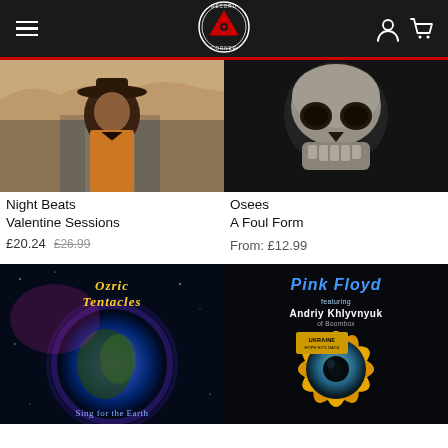Record Corner — navigation header
[Figure (photo): Night Beats artist photo — man with wide brim hat standing on a road, brown jacket]
Night Beats
Valentine Sessions
£20.24  £26.99
[Figure (photo): Osees A Foul Form album art — grainy black and white skull]
Osees
A Foul Form
From: £12.99
[Figure (photo): Ozric Tentacles — Sing for the Earth album art, glowing planet in space]
[Figure (photo): Pink Floyd featuring Andriy Khlyvnyuk Ukraine sunflower album art]